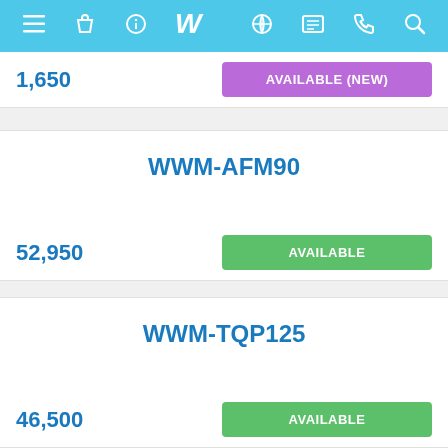[Figure (screenshot): Navigation bar with menu, bag, info, logo, globe, list, phone, and search icons on a teal/cyan background]
1,650
AVAILABLE (NEW)
WWM-AFM90
52,950
AVAILABLE
WWM-TQP125
46,500
AVAILABLE